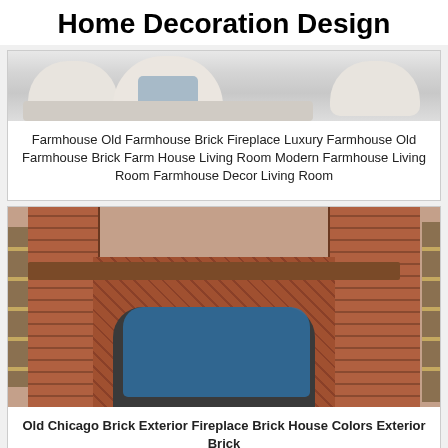Home Decoration Design
[Figure (photo): Partial view of a white/cream sofa with cushions and a blue accent, top portion visible]
Farmhouse Old Farmhouse Brick Fireplace Luxury Farmhouse Old Farmhouse Brick Farm House Living Room Modern Farmhouse Living Room Farmhouse Decor Living Room
[Figure (photo): Under-construction brick fireplace with arched opening, wood beam mantel, blue protective cover on firebox, wood framing visible on sides]
Old Chicago Brick Exterior Fireplace Brick House Colors Exterior Brick